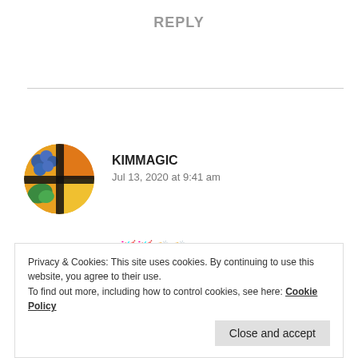REPLY
[Figure (photo): Round avatar image showing colorful abstract painting with blue, orange, green colors and a dark cross/plus shape overlay]
KIMMAGIC
Jul 13, 2020 at 9:41 am
Congrats Ishita!! 🥳🥳👏👏
Privacy & Cookies: This site uses cookies. By continuing to use this website, you agree to their use.
To find out more, including how to control cookies, see here: Cookie Policy
Close and accept